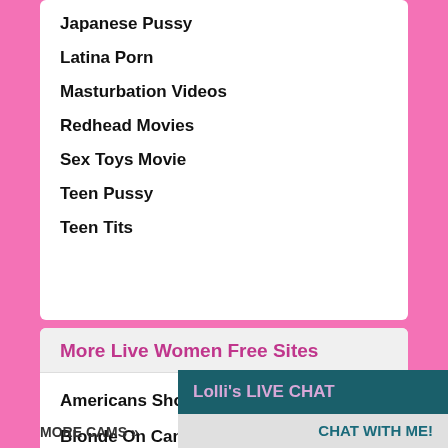Japanese Pussy
Latina Porn
Masturbation Videos
Redhead Movies
Sex Toys Movie
Teen Pussy
Teen Tits
More Live Women Free Sites
Americans Show
Blonde On Cam
Lolli's LIVE CHAT
CHAT WITH ME!
MORE CAMS »